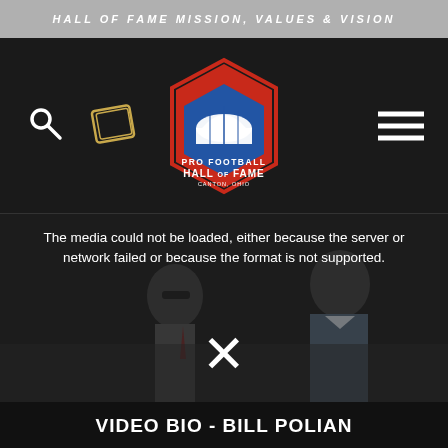HALL OF FAME MISSION, VALUES & VISION
[Figure (logo): Pro Football Hall of Fame logo — red and blue hexagonal badge with a football stadium dome and radiating lines]
[Figure (screenshot): Video player showing two men in a stadium, with error message: The media could not be loaded, either because the server or network failed or because the format is not supported. Large X close button visible.]
VIDEO BIO - BILL POLIAN